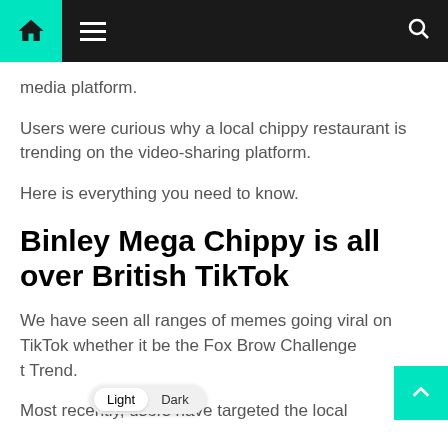Navigation bar with home icon, hamburger menu, and search icon
media platform.
Users were curious why a local chippy restaurant is trending on the video-sharing platform.
Here is everything you need to know.
Binley Mega Chippy is all over British TikTok
We have seen all ranges of memes going viral on TikTok whether it be the Fox Brow Challenge the Trend.
Most recently, users have targeted the local